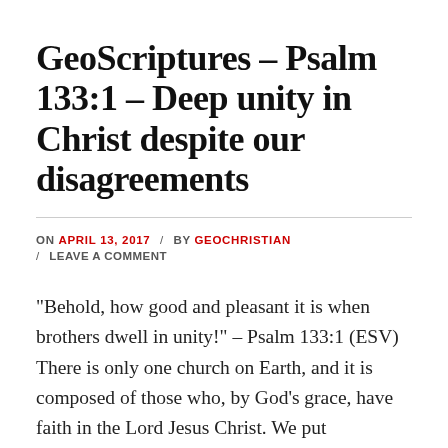GeoScriptures – Psalm 133:1 – Deep unity in Christ despite our disagreements
ON APRIL 13, 2017 / BY GEOCHRISTIAN / LEAVE A COMMENT
"Behold, how good and pleasant it is when brothers dwell in unity!" – Psalm 133:1 (ESV) There is only one church on Earth, and it is composed of those who, by God's grace, have faith in the Lord Jesus Christ. We put